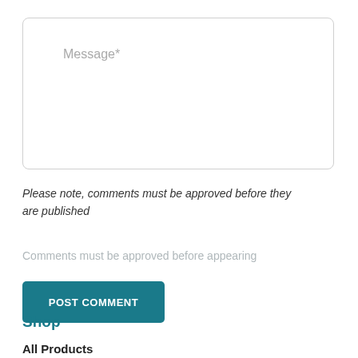Message*
Please note, comments must be approved before they are published
Comments must be approved before appearing
POST COMMENT
Shop
All Products